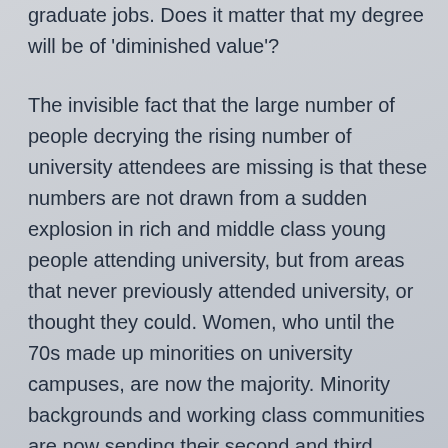graduate jobs. Does it matter that my degree will be of 'diminished value'?
The invisible fact that the large number of people decrying the rising number of university attendees are missing is that these numbers are not drawn from a sudden explosion in rich and middle class young people attending university, but from areas that never previously attended university, or thought they could. Women, who until the 70s made up minorities on university campuses, are now the majority. Minority backgrounds and working class communities are now sending their second and third generations to universities, and the rising